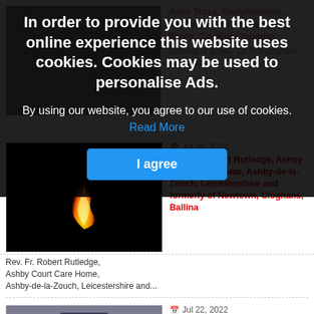[Figure (screenshot): Cookie consent overlay on a news/obituary website. Overlay has dark background with bold white text reading 'In order to provide you with the best online experience this website uses cookies. Cookies may be used to personalise Ads.' followed by body text and a blue 'I agree' button. Behind the overlay are partially visible obituary listings for John Torra and Rev. Fr. Robert Rutledge and Margaret White nee O'Donnell.]
In order to provide you with the best online experience this website uses cookies. Cookies may be used to personalise Ads.
By using our website, you agree to our use of cookies. Read More
I agree
Jul 22, 2022
Rev. Fr. Robert Rutledge, Ashby Court Care Home, Ashby-de-la-Zouch, Leicestershire and formerly of Newtown, Cloghans, Ballina
Rev. Fr. Robert Rutledge, Ashby Court Care Home, Ashby-de-la-Zouch, Leicestershire and...
Jul 22, 2022
Margaret White nee O'Donnell, Crossboyne,